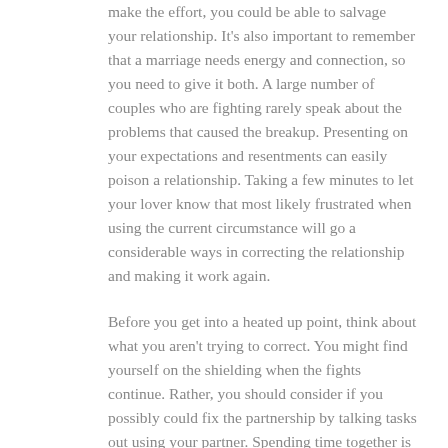make the effort, you could be able to salvage your relationship. It's also important to remember that a marriage needs energy and connection, so you need to give it both. A large number of couples who are fighting rarely speak about the problems that caused the breakup. Presenting on your expectations and resentments can easily poison a relationship. Taking a few minutes to let your lover know that most likely frustrated when using the current circumstance will go a considerable ways in correcting the relationship and making it work again.
Before you get into a heated up point, think about what you aren't trying to correct. You might find yourself on the shielding when the fights continue. Rather, you should consider if you possibly could fix the partnership by talking tasks out using your partner. Spending time together is vital for curing and reconnecting. You need to guarantee that your partner seems the same way regarding the